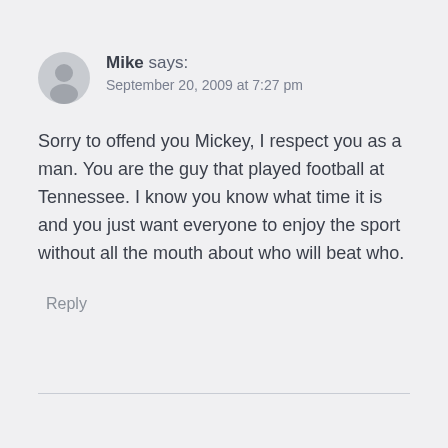Mike says: September 20, 2009 at 7:27 pm
Sorry to offend you Mickey, I respect you as a man. You are the guy that played football at Tennessee. I know you know what time it is and you just want everyone to enjoy the sport without all the mouth about who will beat who.
Reply